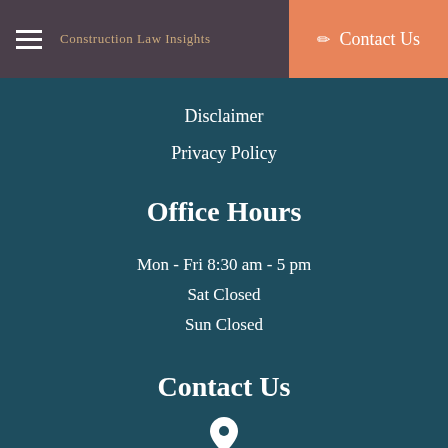Construction Law Insights | Contact Us
Disclaimer
Privacy Policy
Office Hours
Mon - Fri 8:30 am - 5 pm
Sat Closed
Sun Closed
Contact Us
925 Main St., Suite 300
Lynchburg, VA 24504